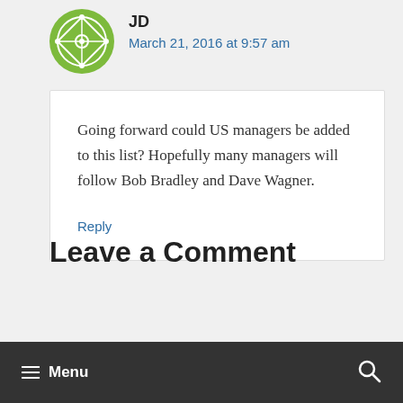[Figure (logo): Green circular avatar/logo with diamond grid pattern]
JD
March 21, 2016 at 9:57 am
Going forward could US managers be added to this list? Hopefully many managers will follow Bob Bradley and Dave Wagner.
Reply
Leave a Comment
Menu